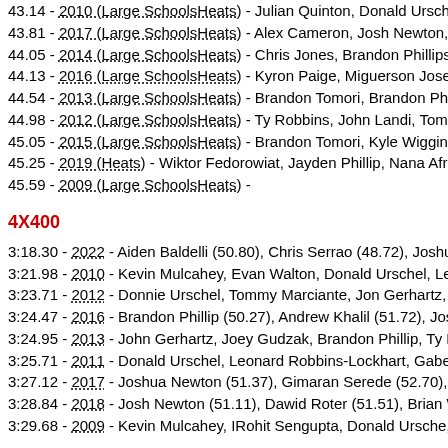43.14 - 2010 (Large SchoolsHeats) - Julian Quinton, Donald Urschel, Evan W
43.81 - 2017 (Large SchoolsHeats) - Alex Cameron, Josh Newton, Kyle Wigg
44.05 - 2014 (Large SchoolsHeats) - Chris Jones, Brandon Phillips, Brandon
44.13 - 2016 (Large SchoolsHeats) - Kyron Paige, Miguerson Joseph, Jahmi
44.54 - 2013 (Large SchoolsHeats) - Brandon Tomori, Brandon Phillips, Lee
44.98 - 2012 (Large SchoolsHeats) - Ty Robbins, John Landi, Tom Marciante
45.05 - 2015 (Large SchoolsHeats) - Brandon Tomori, Kyle Wiggins, Alex Fitz
45.25 - 2019 (Heats) - Wiktor Fedorowiat, Jayden Phillip, Nana Afriye, Aston
45.59 - 2009 (Large SchoolsHeats) -
4X400
3:18.30 - 2022 - Aiden Baldelli (50.80), Chris Serrao (48.72), Joshua Augustin
3:21.98 - 2010 - Kevin Mulcahey, Evan Walton, Donald Urschel, Leonard Rob
3:23.71 - 2012 - Donnie Urschel, Tommy Marciante, Jon Gerhartz, Gabe Woo
3:24.47 - 2016 - Brandon Phillip (50.27), Andrew Khalil (51.72), Josh Newton
3:24.95 - 2013 - John Gerhartz, Joey Gudzak, Brandon Phillip, Ty Robbins
3:25.71 - 2011 - Donald Urschel, Leonard Robbins-Lockhart, Gabe Wood, Th
3:27.12 - 2017 - Joshua Newton (51.37), Gimaran Serede (52.70), Momin Ba
3:28.84 - 2018 - Josh Newton (51.11), Dawid Roter (51.51), Brian Whitelock
3:29.68 - 2009 - Kevin Mulcahey, IRohit Sengupta, Donald Ursche, Wes Rod